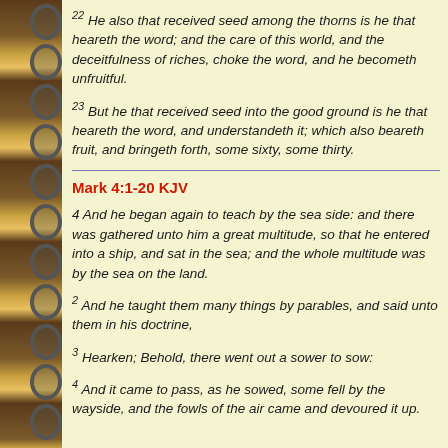22 He also that received seed among the thorns is he that heareth the word; and the care of this world, and the deceitfulness of riches, choke the word, and he becometh unfruitful.
23 But he that received seed into the good ground is he that heareth the word, and understandeth it; which also beareth fruit, and bringeth forth, some an hundredfold, some sixty, some thirty.
Mark 4:1-20 KJV
4 And he began again to teach by the sea side: and there was gathered unto him a great multitude, so that he entered into a ship, and sat in the sea; and the whole multitude was by the sea on the land.
2 And he taught them many things by parables, and said unto them in his doctrine,
3 Hearken; Behold, there went out a sower to sow:
4 And it came to pass, as he sowed, some fell by the wayside, and the fowls of the air came and devoured it up.